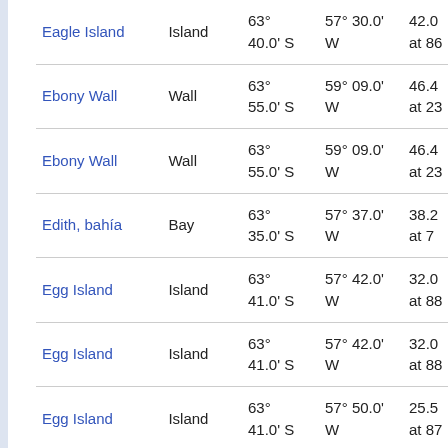| Name | Type | Latitude | Longitude | Other |
| --- | --- | --- | --- | --- |
| Eagle Island | Island | 63° 40.0' S | 57° 30.0' W | 42.0 at 86 |
| Ebony Wall | Wall | 63° 55.0' S | 59° 09.0' W | 46.4 at 23 |
| Ebony Wall | Wall | 63° 55.0' S | 59° 09.0' W | 46.4 at 23 |
| Edith, bahía | Bay | 63° 35.0' S | 57° 37.0' W | 38.2 at 7 |
| Egg Island | Island | 63° 41.0' S | 57° 42.0' W | 32.0 at 88 |
| Egg Island | Island | 63° 41.0' S | 57° 42.0' W | 32.0 at 88 |
| Egg Island | Island | 63° 41.0' S | 57° 50.0' W | 25.5 at 87 |
| Eneas, Cerro | Peak | 63° 45.0' S | 58° 27.0' W | 7.9 k 219° |